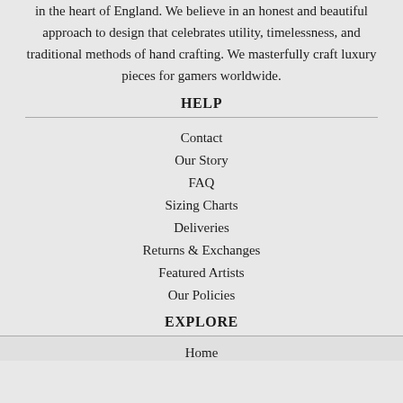in the heart of England. We believe in an honest and beautiful approach to design that celebrates utility, timelessness, and traditional methods of hand crafting. We masterfully craft luxury pieces for gamers worldwide.
HELP
Contact
Our Story
FAQ
Sizing Charts
Deliveries
Returns & Exchanges
Featured Artists
Our Policies
EXPLORE
Home